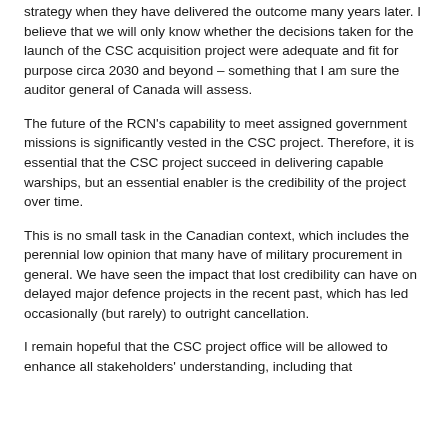strategy when they have delivered the outcome many years later. I believe that we will only know whether the decisions taken for the launch of the CSC acquisition project were adequate and fit for purpose circa 2030 and beyond – something that I am sure the auditor general of Canada will assess.
The future of the RCN's capability to meet assigned government missions is significantly vested in the CSC project. Therefore, it is essential that the CSC project succeed in delivering capable warships, but an essential enabler is the credibility of the project over time.
This is no small task in the Canadian context, which includes the perennial low opinion that many have of military procurement in general. We have seen the impact that lost credibility can have on delayed major defence projects in the recent past, which has led occasionally (but rarely) to outright cancellation.
I remain hopeful that the CSC project office will be allowed to enhance all stakeholders' understanding, including that